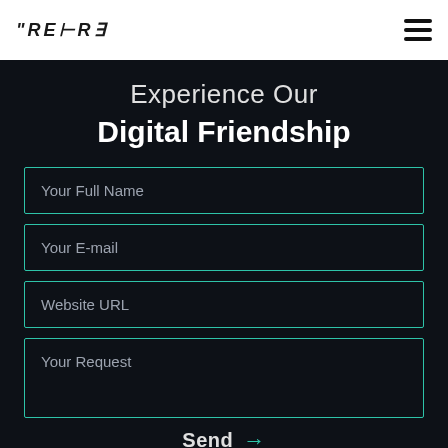REVERB logo and hamburger menu
Experience Our Digital Friendship
[Figure (other): Contact form with fields: Your Full Name, Your E-mail, Website URL, Your Request, and a Send button with arrow]
Send →